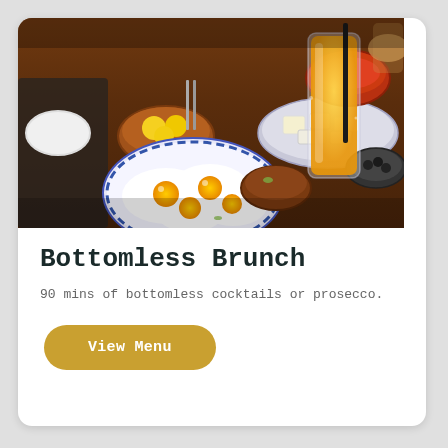[Figure (photo): A spread of brunch food on a dark wooden table: fried eggs on a blue patterned plate, bowls of cheese, butter, jam, and olives, a tall glass of orange juice with a straw, and various other dishes in the background.]
Bottomless Brunch
90 mins of bottomless cocktails or prosecco.
View Menu